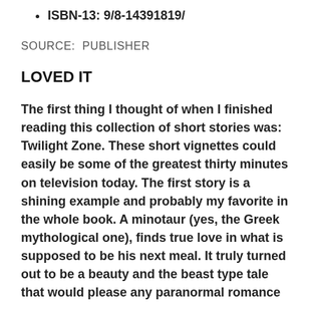ISBN-13: 9/8-14391819/
SOURCE:  PUBLISHER
LOVED IT
The first thing I thought of when I finished reading this collection of short stories was: Twilight Zone.  These short vignettes could easily be some of the greatest thirty minutes on television today.  The first story is a shining example and probably my favorite in the whole book.  A minotaur (yes, the Greek mythological one), finds true love in what is supposed to be his next meal.  It truly turned out to be a beauty and the beast type tale that would please any paranormal romance